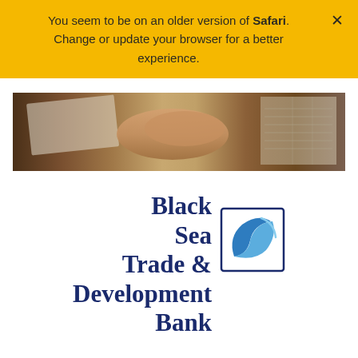You seem to be on an older version of Safari. Change or update your browser for a better experience.
[Figure (photo): Photo of hands shaking over a wooden desk with papers and a ledger/notebook visible]
[Figure (logo): Black Sea Trade & Development Bank logo — dark blue serif text with a blue square icon containing a wave-like fish shape]